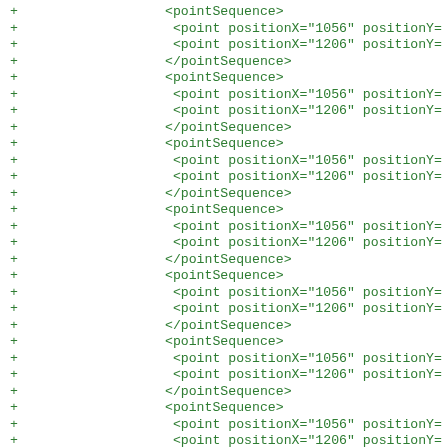Diff view of XML code showing added lines with + markers, containing pointSequence and point elements with positionX and positionY attributes, ending with /PolyPolygon and Geometry tags